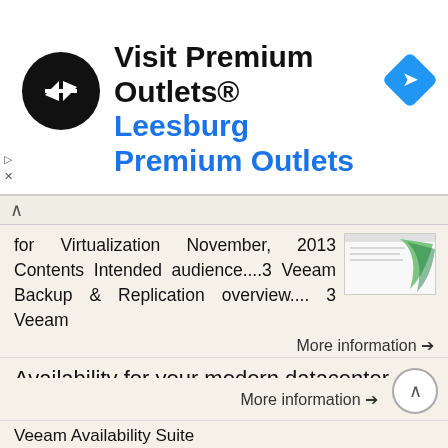[Figure (advertisement): Ad banner for Visit Premium Outlets - Leesburg Premium Outlets with logo and navigation icon]
for Virtualization November, 2013 Contents Intended audience....3 Veeam Backup & Replication overview.... 3 Veeam
More information →
Availability for your modern datacenter
Availability for your modern datacenter - Agentless backup and replication for VMware and Hyper-V - Scalable, powerful, easy-to-use, affordable Veeam Availability protection for the Always-On Business
More information →
Veeam Availability Suite